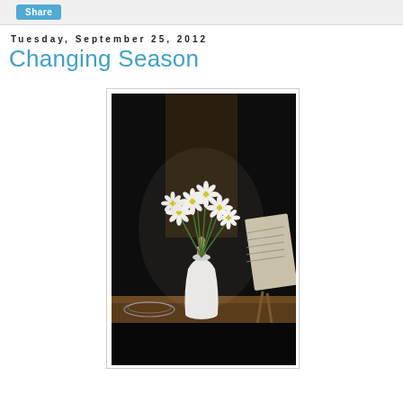Share
Tuesday, September 25, 2012
Changing Season
[Figure (photo): A dark photograph of white daisy flowers in a white vase on a table, with a figurine and what appears to be sheet music or a card on a stand to the right, taken indoors with dramatic low lighting.]